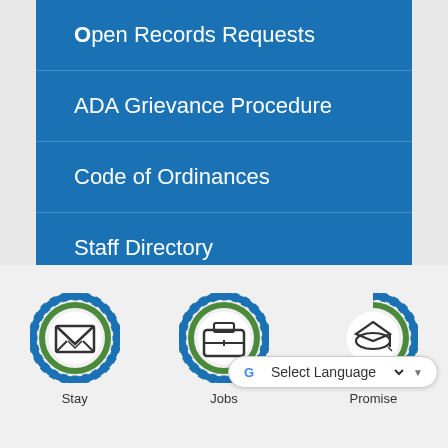Open Records Requests
ADA Grievance Procedure
Code of Ordinances
Staff Directory
[Figure (infographic): Three circular gear-and-ring icons representing Stay Connected, Jobs, and Promise Scholarship with a Select Language dropdown overlay]
Stay
Jobs
Promise